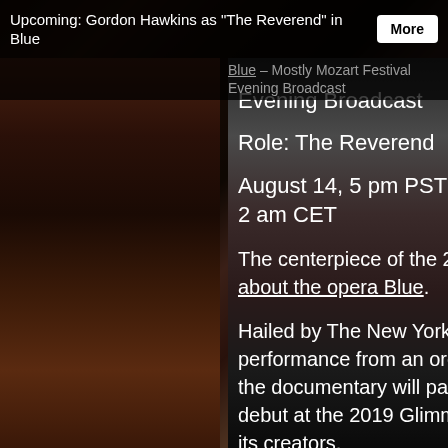Upcoming: Gordon Hawkins as "The Reverend" in Blue
Blue – Mostly Mozart Festival Evening Broadcast
Role: The Reverend
August 14, 5 pm PST – 8 pm EST – 2 am CET
The centerpiece of the 2020 Mostly Mozart Festival is a documentary about the opera Blue.
Hailed by The New York Times for its “elegant” libretto, “vibrant performance from an orchestra of nearly 50 players,” and “superb” cast the documentary will pair exclusive musical highlights from the opera’s debut at the 2019 Glimmerglass Festival, enriched by commentary from its creators,